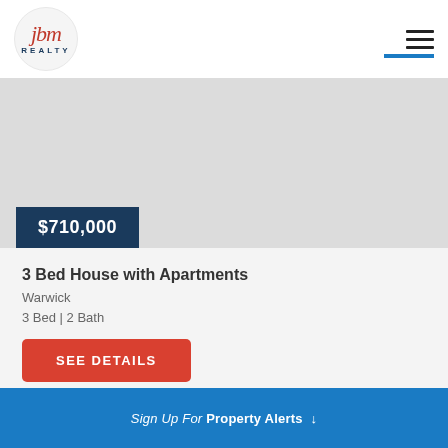[Figure (logo): JBM Realty logo — circular emblem with cursive 'jbm' in red/coral script above 'REALTY' in dark blue sans-serif capitals]
[Figure (photo): Property listing photo placeholder — gray rectangle representing a property image]
$710,000
3 Bed House with Apartments
Warwick
3 Bed | 2 Bath
SEE DETAILS
Sign Up For Property Alerts ↓